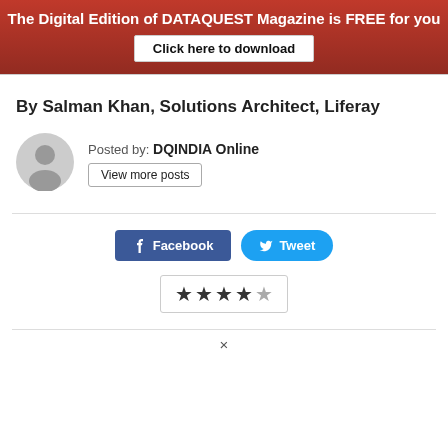The Digital Edition of DATAQUEST Magazine is FREE for you
Click here to download
By Salman Khan, Solutions Architect, Liferay
Posted by: DQINDIA Online
View more posts
[Figure (illustration): Generic user avatar icon, grey circle with person silhouette]
Facebook
Tweet
★★★★☆ (rating: 4 out of 5 stars)
×